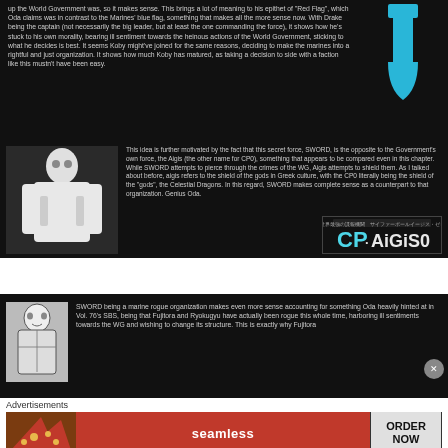up the World Government was, so it makes sense. This brings a lot of meaning to his epithet of "Red Flag", which Oda claims was in contrast to the Marines' blue flag, something that makes all the more sense now. With Drake being the captain (not necessarily the big leader, but at least the one commanding the force), it shows how he's stuck to his own morality, bearing ill sentiment towards the heinous actions of the World Government, sticking to what he decides is best. It seems Koby might've joined for the same reasons, deciding to make the marines into a rightful and just organization. It shows how much Koby has matured, as taking a decision to side with a faction like this mustn't have been easy.
[Figure (illustration): Blue SWORD symbol/logo on black background]
[Figure (illustration): Manga character in white outfit (likely a Marine or CP0 agent)]
This idea is further motivated by the fact that this secret force, SWORD, is the opposite to the Government's own force, the Aigis (the other name for CP0), something that appears to be compared even in this chapter. While SWORD attempts to pierce through the crimes of the WG, Aigis attempts to shield them. As I talked about before, aigis refers to the shield of the gods in Greek culture, with the CP0 literally being the shield of the "gods", the Celestial Dragons. In this regard, SWORD makes complete sense as a counterpart to that organization. Genius Oda.
[Figure (screenshot): CP-AIGIS0 logo/title image with Japanese text above]
[Figure (illustration): Manga character sketch (Fujitora or similar admiral)]
SWORD being a marine rogue organization makes even more sense accounting for something Oda heavily hinted at in Vol. 76's SBS, being that Fujitora and Ryokugyu have actually been rogue this whole time, harboring ill sentiments towards the WG and wishing to change its structure. This is exactly why Fujitora
Advertisements
[Figure (photo): Pizza photo for Seamless advertisement]
[Figure (logo): Seamless logo - white text on red background]
ORDER NOW